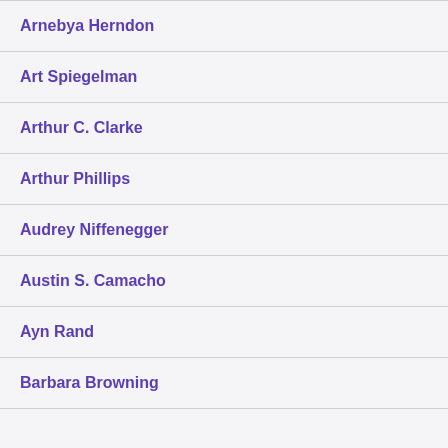Arnebya Herndon
Art Spiegelman
Arthur C. Clarke
Arthur Phillips
Audrey Niffenegger
Austin S. Camacho
Ayn Rand
Barbara Browning